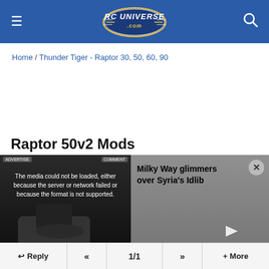RC Universe .com
Home / Thunder Tiger - Raptor 30, 50, 60, 90
Raptor 50v2 Mods
[Figure (screenshot): Video player showing media error: 'The media could not be loaded, either because the server or network failed or because the format is not supported.' Alongside a news thumbnail showing 'Milky Way glimmers over Syria's Idlib' on a gray background with a close button.]
Reply  <<  1/1  >>  + More